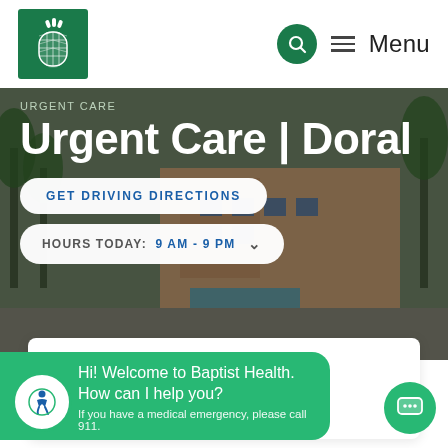[Figure (logo): Baptist Health pineapple logo on green background]
Menu
URGENT CARE
Urgent Care | Doral
GET DRIVING DIRECTIONS
HOURS TODAY: 9 AM - 9 PM
VIRTUAL VISITS
Or Call: 786-596-3830
Hi! Welcome to Baptist Health. How can I help you?
If you have a medical emergency, please call 911.